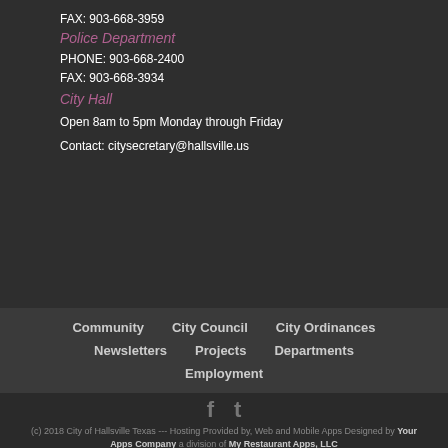FAX: 903-668-3959
Police Department
PHONE: 903-668-2400
FAX: 903-668-3934
City Hall
Open 8am to 5pm Monday through Friday
Contact: citysecretary@hallsville.us
Community
City Council
City Ordinances
Newsletters
Projects
Departments
Employment
(c) 2018 City of Hallsville Texas --- Hosting Provided by, Web and Mobile Apps Designed by Your Apps Company a division of My Restaurant Apps, LLC